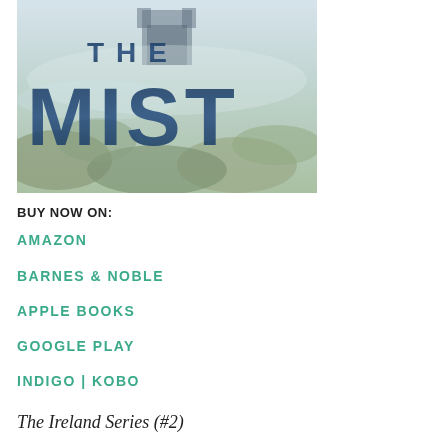[Figure (illustration): Book cover for 'The Mist' showing a misty Irish landscape with rocky terrain, a castle in the background, and large bold blue text reading 'THE MIST' overlaid on the scene.]
BUY NOW ON:
AMAZON
BARNES & NOBLE
APPLE BOOKS
GOOGLE PLAY
INDIGO | KOBO
The Ireland Series (#2)